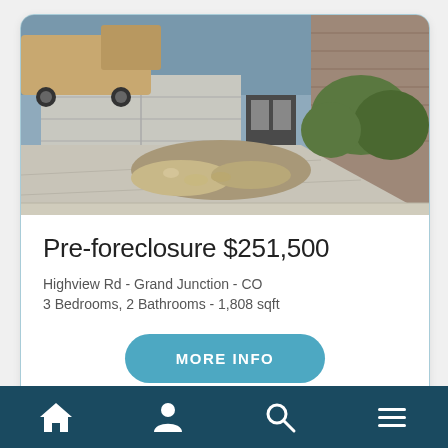[Figure (photo): Exterior photo of a house with a garage, driveway, landscaping with rocks and shrubs, and a brick facade visible]
Pre-foreclosure $251,500
Highview Rd - Grand Junction - CO
3 Bedrooms, 2 Bathrooms - 1,808 sqft
MORE INFO
[Figure (infographic): Bottom navigation bar with home, user, search, and menu icons]